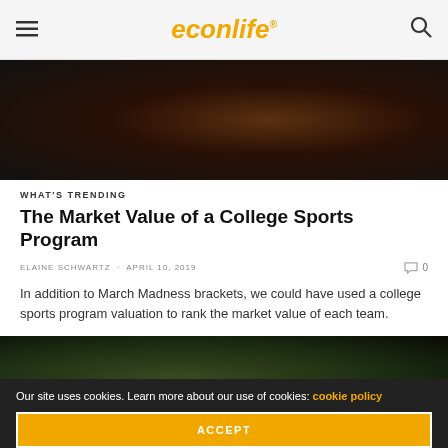econlife
[Figure (photo): Close-up photo of a basketball with dark brown and grey tones]
WHAT'S TRENDING
The Market Value of a College Sports Program
ELAINE SCHWARTZ · APRIL 10, 2019  0
In addition to March Madness brackets, we could have used a college sports program valuation to rank the market value of each team.
[Figure (photo): Blurred stadium or sports field photo with green and dark tones]
Our site uses cookies. Learn more about our use of cookies: cookie policy
ACCEPT